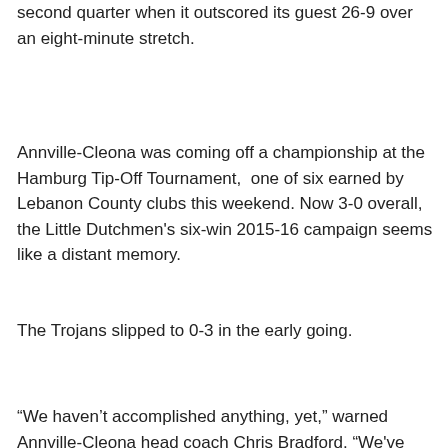second quarter when it outscored its guest 26-9 over an eight-minute stretch.
Annville-Cleona was coming off a championship at the Hamburg Tip-Off Tournament,  one of six earned by Lebanon County clubs this weekend. Now 3-0 overall, the Little Dutchmen's six-win 2015-16 campaign seems like a distant memory.
The Trojans slipped to 0-3 in the early going.
“We haven’t accomplished anything, yet,” warned Annville-Cleona head coach Chris Bradford. “We've been there before, where it turns like that. They (his players) should be happy how they played tonight. But tomorrow is tomorrow. If we can take care of those steps, we’ll get where we want to go. We ask our guys: ‘Why can’t it be us?’ If we answer that